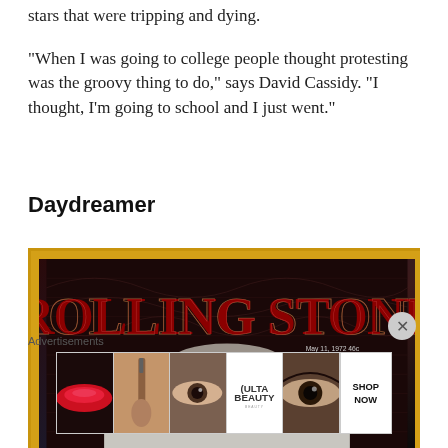stars that were tripping and dying.
“When I was going to college people thought protesting was the groovy thing to do,” says David Cassidy. “I thought, I’m going to school and I just went.”
Daydreamer
[Figure (photo): Rolling Stone magazine cover photograph showing the Rolling Stone logo in stylized red lettering with ornate gothic font against a dark textured background, with a date line reading May 11, 1972 and the lower portion showing what appears to be a person in white]
Advertisements
[Figure (photo): Ulta Beauty advertisement banner showing makeup and beauty product images including lips, a makeup brush, an eye, the ULTA logo, another eye, and SHOP NOW text]